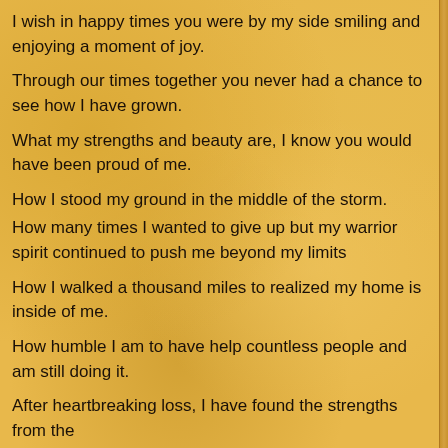I wish in happy times you were by my side smiling and enjoying a moment of joy.
Through our times together you never had a chance to see how I have grown.
What my strengths and beauty are, I know you would have been proud of me.
How I stood my ground in the middle of the storm.
How many times I wanted to give up but my warrior spirit continued to push me beyond my limits
How I walked a thousand miles to realized my home is inside of me.
How humble I am to have help countless people and am still doing it.
After heartbreaking loss, I have found the strengths from the